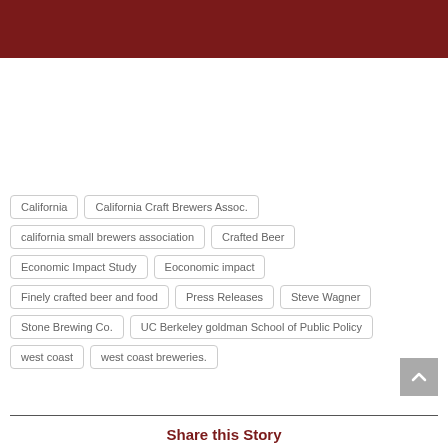[Figure (other): Dark maroon header bar]
California
California Craft Brewers Assoc.
california small brewers association
Crafted Beer
Economic Impact Study
Eoconomic impact
Finely crafted beer and food
Press Releases
Steve Wagner
Stone Brewing Co.
UC Berkeley goldman School of Public Policy
west coast
west coast breweries.
Share this Story